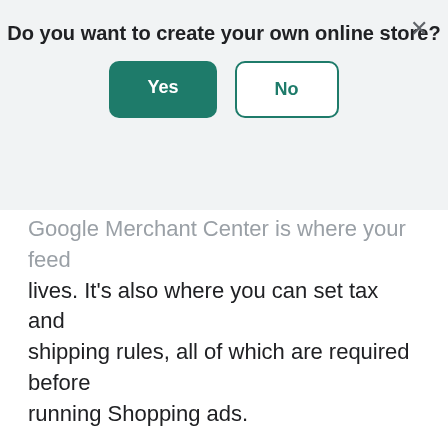Do you want to create your own online store?
Yes | No (dialog buttons)
Google Merchant Center is where your feed lives. It’s also where you can set tax and shipping rules, all of which are required before running Shopping ads.
Here are a few tips for setting up your Merchant Center account:
Have access to your domain registrar. You’ll need to verify that you own your site and then claim it for use in Merchant Center. The easiest way to do this is by logging into your domain registrar and giving Google